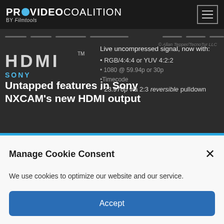PROVIDEO COALITION BY Filmtools
[Figure (screenshot): Article thumbnail showing HDMI cable and Sony NXCAM features list including: RGB/4:4:4 or YUV 4:2:2, 1080 @ 59.94p or 30p, Timecode, 23.976p via 2:3 reversible pulldown. Live uncompressed signal, now with:]
Untapped features in Sony NXCAM's new HDMI output
Manage Cookie Consent
We use cookies to optimize our website and our service.
Accept